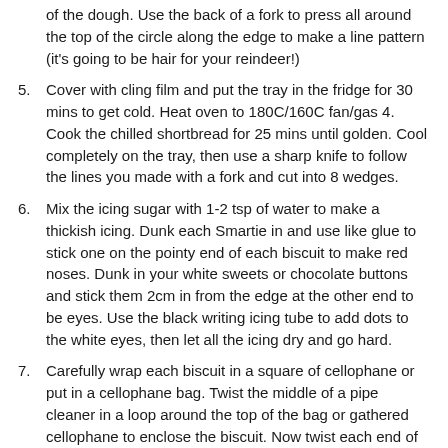of the dough. Use the back of a fork to press all around the top of the circle along the edge to make a line pattern (it's going to be hair for your reindeer!)
5. Cover with cling film and put the tray in the fridge for 30 mins to get cold. Heat oven to 180C/160C fan/gas 4. Cook the chilled shortbread for 25 mins until golden. Cool completely on the tray, then use a sharp knife to follow the lines you made with a fork and cut into 8 wedges.
6. Mix the icing sugar with 1-2 tsp of water to make a thickish icing. Dunk each Smartie in and use like glue to stick one on the pointy end of each biscuit to make red noses. Dunk in your white sweets or chocolate buttons and stick them 2cm in from the edge at the other end to be eyes. Use the black writing icing tube to add dots to the white eyes, then let all the icing dry and go hard.
7. Carefully wrap each biscuit in a square of cellophane or put in a cellophane bag. Twist the middle of a pipe cleaner in a loop around the top of the bag or gathered cellophane to enclose the biscuit. Now twist each end of the pipe cleaner so it looks like the reindeer's antlers. Add labels and give to your friends